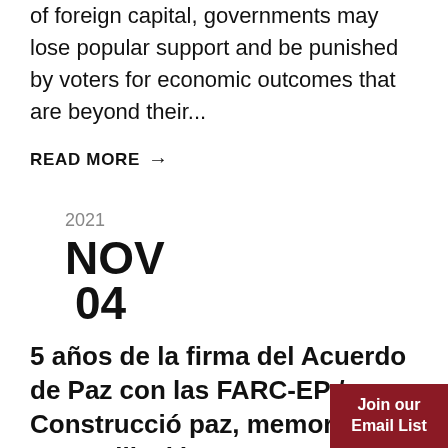of foreign capital, governments may lose popular support and be punished by voters for economic outcomes that are beyond their...
READ MORE →
2021
NOV
04
5 años de la firma del Acuerdo de Paz con las FARC-EP / Construcció paz, memoria y reconciliación
Join our Email List